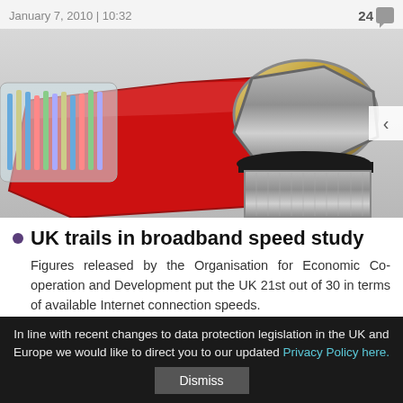January 7, 2010 | 10:32   24
[Figure (photo): Close-up photo of a red Ethernet/RJ45 connector next to a metallic coaxial cable connector on a grey background]
UK trails in broadband speed study
Figures released by the Organisation for Economic Co-operation and Development put the UK 21st out of 30 in terms of available Internet connection speeds.
December 14, 2009 | 10:28   39
In line with recent changes to data protection legislation in the UK and Europe we would like to direct you to our updated Privacy Policy here.
Dismiss